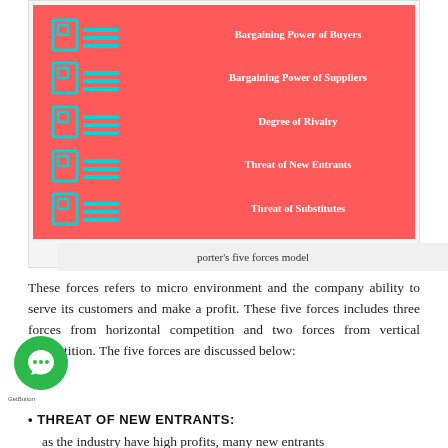[Figure (infographic): Porter's Five Forces model infographic on a red/coral background. Left side shows checklist-style icons in cyan. Right side lists: Bargaining Power of Buyers, Bargaining Power of Suppliers, Degree of Rivalry, Threat of New Entrants, Threat of Substitutes.]
porter's five forces model
These forces refers to micro environment and the company ability to serve its customers and make a profit. These five forces includes three forces from horizontal competition and two forces from vertical competition. The five forces are discussed below:
THREAT OF NEW ENTRANTS:
as the industry have high profits, many new entrants